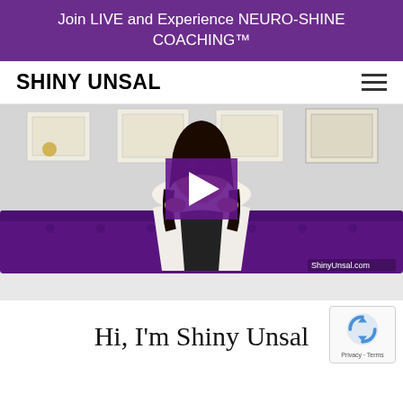Join LIVE and Experience NEURO-SHINE COACHING™
SHINY UNSAL
[Figure (screenshot): Video thumbnail showing a woman in a white blazer sitting in front of a purple couch with framed certificates on the wall behind her, with a purple play button overlay in the center and 'ShinyUnsal.com' watermark in bottom right corner]
Hi, I'm Shiny Unsal